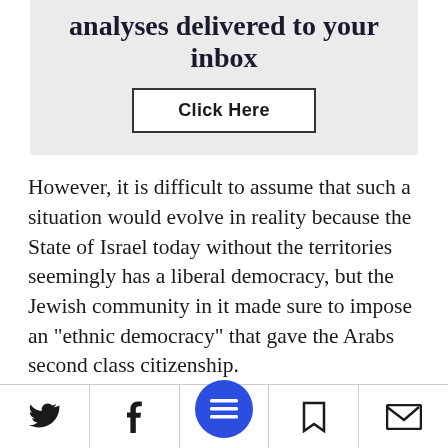analyses delivered to your inbox
Click Here
However, it is difficult to assume that such a situation would evolve in reality because the State of Israel today without the territories seemingly has a liberal democracy, but the Jewish community in it made sure to impose an "ethnic democracy" that gave the Arabs second class citizenship.
- Advertisement -
[social share bar: Twitter, Facebook, Menu, Bookmark, Email]